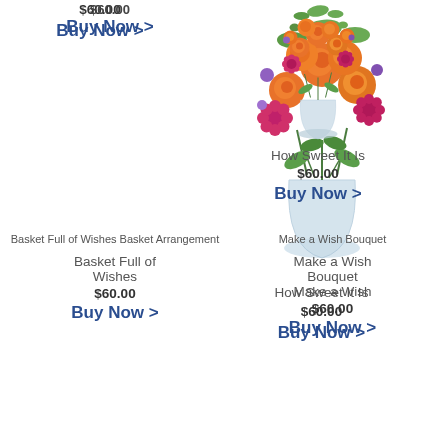$60.00
Buy Now >
[Figure (photo): Photo of a floral arrangement called How Sweet It Is — orange roses and pink/red flowers in a glass vase]
How Sweet It Is
$60.00
Buy Now >
[Figure (photo): Broken image placeholder labeled 'Basket Full of Wishes Basket Arrangement']
Basket Full of Wishes
$60.00
Buy Now >
[Figure (photo): Broken image placeholder labeled 'Make a Wish Bouquet']
Make a Wish
$60.00
Buy Now >